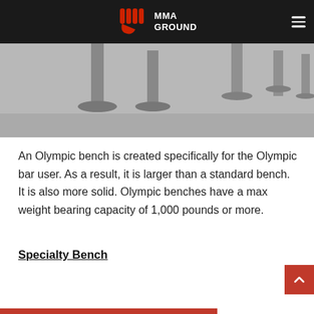MMA GROUND
[Figure (photo): Partial view of metal gym bench legs/feet on grey background]
An Olympic bench is created specifically for the Olympic bar user. As a result, it is larger than a standard bench. It is also more solid. Olympic benches have a max weight bearing capacity of 1,000 pounds or more.
Specialty Bench